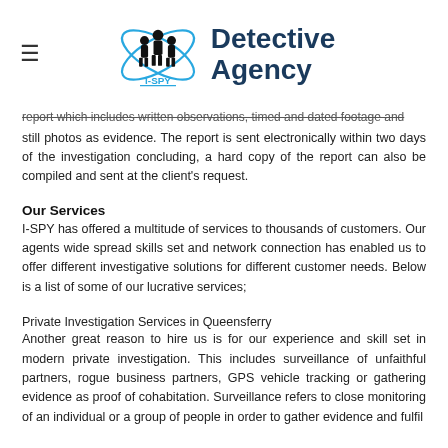[Figure (logo): I-SPY Detective Agency logo with orbital ring graphic and silhouettes of figures, text reads Detective Agency with I-SPY underneath]
report which includes written observations, timed and dated footage and still photos as evidence. The report is sent electronically within two days of the investigation concluding, a hard copy of the report can also be compiled and sent at the client's request.
Our Services
I-SPY has offered a multitude of services to thousands of customers. Our agents wide spread skills set and network connection has enabled us to offer different investigative solutions for different customer needs. Below is a list of some of our lucrative services;
Private Investigation Services in Queensferry
Another great reason to hire us is for our experience and skill set in modern private investigation. This includes surveillance of unfaithful partners, rogue business partners, GPS vehicle tracking or gathering evidence as proof of cohabitation. Surveillance refers to close monitoring of an individual or a group of people in order to gather evidence and fulfil